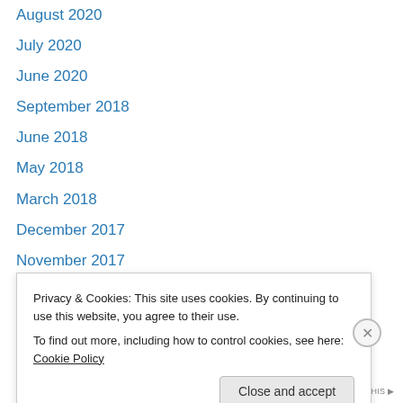August 2020
July 2020
June 2020
September 2018
June 2018
May 2018
March 2018
December 2017
November 2017
October 2017
September 2017
July 2017
June 2017
April 2017
Privacy & Cookies: This site uses cookies. By continuing to use this website, you agree to their use.
To find out more, including how to control cookies, see here: Cookie Policy
Close and accept